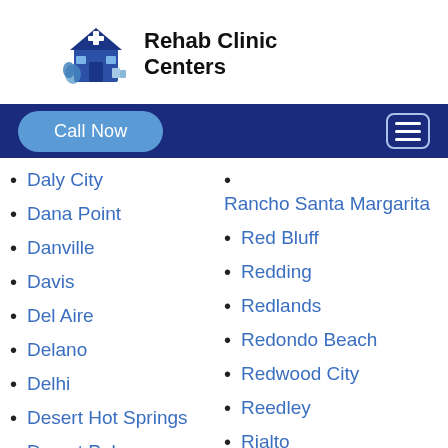Rehab Clinic Centers
Daly City
Dana Point
Danville
Davis
Del Aire
Delano
Delhi
Desert Hot Springs
Desert Palms
Diamond Bar
Rancho Santa Margarita
Red Bluff
Redding
Redlands
Redondo Beach
Redwood City
Reedley
Rialto
Richmond